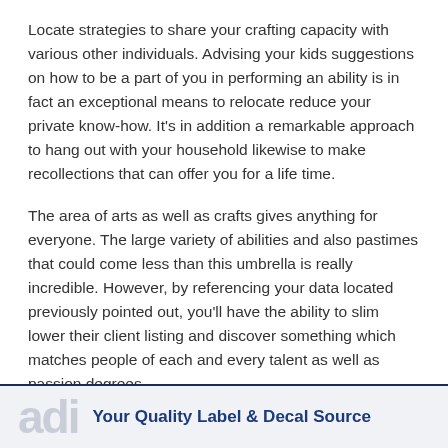Locate strategies to share your crafting capacity with various other individuals. Advising your kids suggestions on how to be a part of you in performing an ability is in fact an exceptional means to relocate reduce your private know-how. It's in addition a remarkable approach to hang out with your household likewise to make recollections that can offer you for a life time.
The area of arts as well as crafts gives anything for everyone. The large variety of abilities and also pastimes that could come less than this umbrella is really incredible. However, by referencing your data located previously pointed out, you'll have the ability to slim lower their client listing and discover something which matches people of each and every talent as well as passion degrees.
adi   Your Quality Label & Decal Source